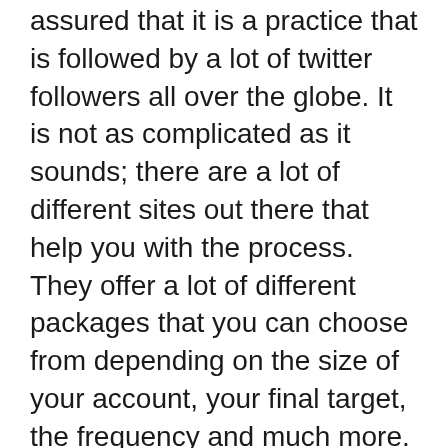assured that it is a practice that is followed by a lot of twitter followers all over the globe. It is not as complicated as it sounds; there are a lot of different sites out there that help you with the process. They offer a lot of different packages that you can choose from depending on the size of your account, your final target, the frequency and much more. They are also said to be rather reasonable and we are sure that it won't burn a hole in your budget.
Almost all of these online sites also provide round the clock customer care services so that you can get all your questions